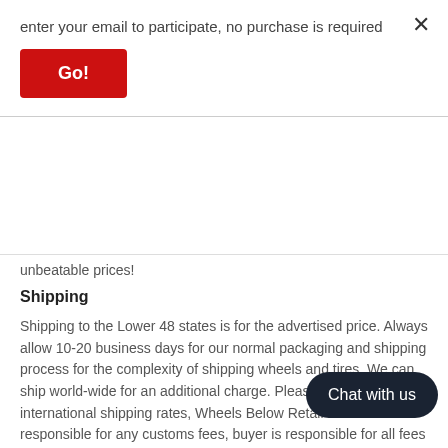enter your email to participate, no purchase is required
Go!
unbeatable prices!
Shipping
Shipping to the Lower 48 states is for the advertised price. Always allow 10-20 business days for our normal packaging and shipping process for the complexity of shipping wheels and tires. We can ship world-wide for an additional charge. Please contact us for international shipping rates, Wheels Below Retail is not responsible for any customs fees, buyer is responsible for all fees and paperwork above and beyond standard freight charges. Simply give us a call or choose the "Fitment Assistance" link at the top of any screen.
WHAT TO EXPECT UPON DELIVERY
1.Make sure to inspect every piece BEFORE SIGNING. If your items are shipped via UPS/FedEx ground, a signature is not required, but please be sure to inspect the products as quickly as possible and follow
Chat with us